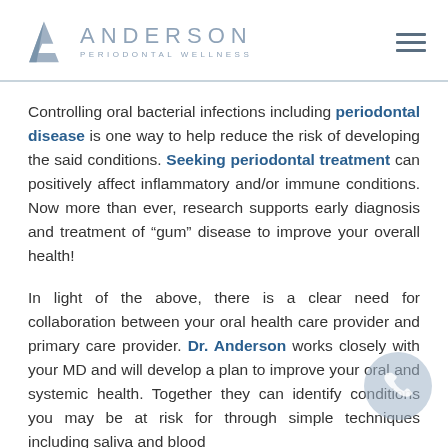[Figure (logo): Anderson Periodontal Wellness logo with stylized A icon and hamburger menu icon]
Controlling oral bacterial infections including periodontal disease is one way to help reduce the risk of developing the said conditions. Seeking periodontal treatment can positively affect inflammatory and/or immune conditions. Now more than ever, research supports early diagnosis and treatment of "gum" disease to improve your overall health!
In light of the above, there is a clear need for collaboration between your oral health care provider and primary care provider. Dr. Anderson works closely with your MD and will develop a plan to improve your oral and systemic health. Together they can identify conditions you may be at risk for through simple techniques including saliva and blood